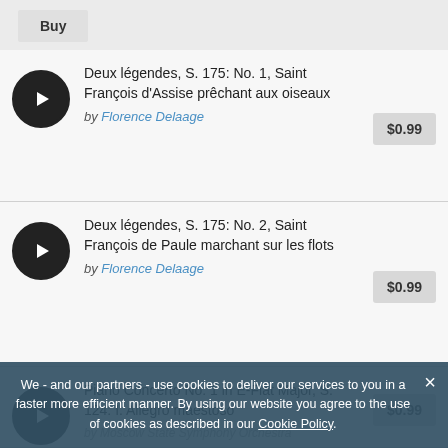Buy
Deux légendes, S. 175: No. 1, Saint François d'Assise prêchant aux oiseaux
by Florence Delaage
$0.99
Deux légendes, S. 175: No. 2, Saint François de Paule marchant sur les flots
by Florence Delaage
$0.99
Piano Concerto No. 1 in E-Flat Major, S. 124: I. Allegro maestoso
by Moscow State Symphony Orchestra
$0.99
We - and our partners - use cookies to deliver our services to you in a faster more efficient manner. By using our website you agree to the use of cookies as described in our Cookie Policy.